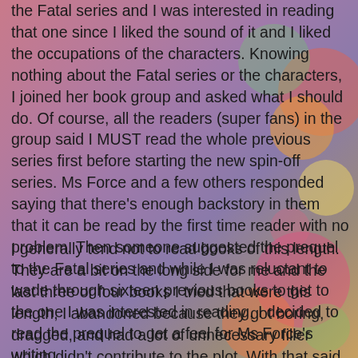the Fatal series and I was interested in reading that one since I liked the sound of it and I liked the occupations of the characters. Knowing nothing about the Fatal series or the characters, I joined her book group and asked what I should do. Of course, all the readers (super fans) in the group said I MUST read the whole previous series first before starting the new spin-off series. Ms Force and a few others responded saying that there's enough backstory in them that it can be read by the first time reader with no problem. Then someone suggested the prequel to the Fatal series and while I was reluctant to wade through sixteen previous books to get to the one I was interested in reading, I decided to read the prequel to get a feel for Ms Force's writing.
I generally tend not to read books of this length. They are a bit on the long side for me and the last three or four books I tried that were this length, I abandoned because they got boring, dragged, and had a lot of unnecessary filler which didn't contribute to the plot. With that said, I was wary about reading this book because it comes with great acclaim and a huge fan(atical) base. I also didn't want to DNF another book. What made me take the plunge and read the book,